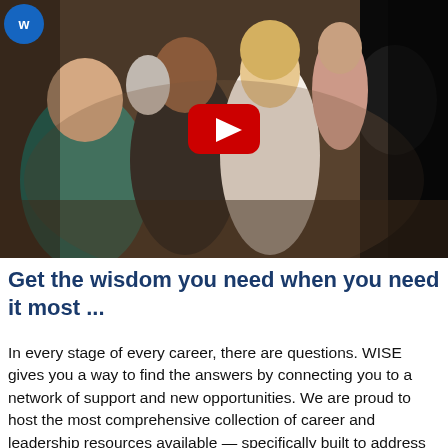[Figure (photo): A group of women networking and chatting at an event, with a YouTube play button overlay in the center. A small circular logo appears in the top-left corner.]
Get the wisdom you need when you need it most ...
In every stage of every career, there are questions. WISE gives you a way to find the answers by connecting you to a network of support and new opportunities. We are proud to host the most comprehensive collection of career and leadership resources available — specifically built to address the unique hurdles women in the business of sports